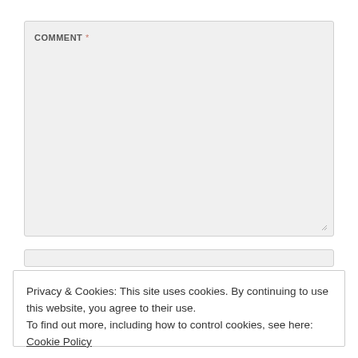COMMENT *
[Figure (screenshot): Empty comment textarea input field with grey background and resize handle in bottom-right corner]
[Figure (screenshot): Partially visible second input field]
Privacy & Cookies: This site uses cookies. By continuing to use this website, you agree to their use.
To find out more, including how to control cookies, see here: Cookie Policy
Close and accept